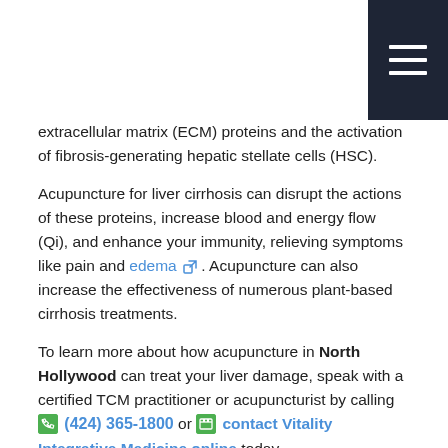[Figure (other): Dark navy navigation hamburger menu button in top-right corner with three white horizontal lines]
extracellular matrix (ECM) proteins and the activation of fibrosis-generating hepatic stellate cells (HSC).
Acupuncture for liver cirrhosis can disrupt the actions of these proteins, increase blood and energy flow (Qi), and enhance your immunity, relieving symptoms like pain and edema. Acupuncture can also increase the effectiveness of numerous plant-based cirrhosis treatments.
To learn more about how acupuncture in North Hollywood can treat your liver damage, speak with a certified TCM practitioner or acupuncturist by calling (424) 365-1800 or contact Vitality Integrative Medicine online today.
How does acupuncture work?
With single-use, sterile, fine needles acupuncture therapy